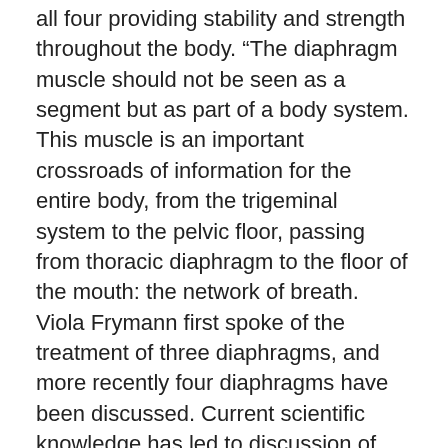all four providing stability and strength throughout the body. “The diaphragm muscle should not be seen as a segment but as part of a body system. This muscle is an important crossroads of information for the entire body, from the trigeminal system to the pelvic floor, passing from thoracic diaphragm to the floor of the mouth: the network of breath. Viola Frymann first spoke of the treatment of three diaphragms, and more recently four diaphragms have been discussed. Current scientific knowledge has led to discussion of the manual treatment of five diaphragms. This article highlights the anatomic connections and fascial and neurologic aspects of the diaphragm muscle, with four other structures considered as diaphragms: that is, the five diaphragms. The logic of the manual treatment proposed here is based on a concept and diagnostic work that should be the basis for any area of the body: The patient never just has a localized